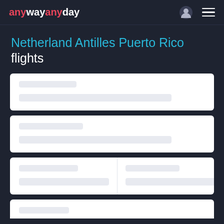anywayanyday
Netherland Antilles Puerto Rico flights
[Figure (screenshot): Loading skeleton card 1 with two placeholder bars]
[Figure (screenshot): Loading skeleton card 2 with two placeholder bars]
[Figure (screenshot): Loading skeleton card 3 split into two columns, each with two placeholder bars]
[Figure (screenshot): Loading skeleton card 4 partial, with one placeholder bar visible]